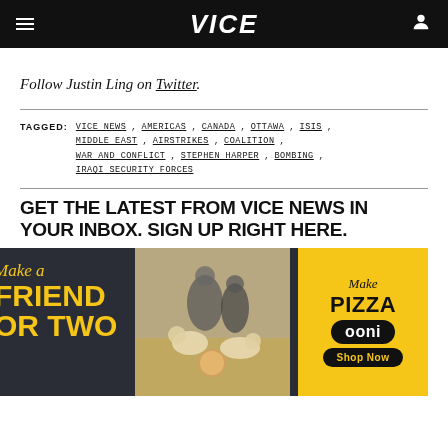VICE
Follow Justin Ling on Twitter.
TAGGED: VICE NEWS, AMERICAS, CANADA, OTTAWA, ISIS, MIDDLE EAST, AIRSTRIKES, COALITION, WAR AND CONFLICT, STEPHEN HARPER, BOMBING, IRAQI SECURITY FORCES
GET THE LATEST FROM VICE NEWS IN YOUR INBOX. SIGN UP RIGHT HERE.
[Figure (photo): Advertisement banner for Ooni pizza oven with text 'Make a Friend or Two' on left side with yellow text on dark background, people and dogs in center photo, and 'Make Pizza ooni Shop Now' on yellow right panel.]